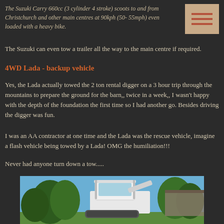The Suzuki Carry 660cc (3 cylinder 4 stroke) scoots to and from Christchurch and other main centres at 90kph (50- 55mph) even loaded with a heavy bike.
[Figure (other): Menu/hamburger icon with three horizontal orange lines on a tan/beige background]
The Suzuki can even tow a trailer all the way to the main centre if required.
4WD Lada - backup vehicle
Yes, the Lada actually towed the 2 ton rental digger on a 3 hour trip through the mountains to prepare the ground for the barn,, twice in a week,, I wasn't happy with the depth of the foundation the first time so I had another go. Besides driving the digger was fun.
I was an AA contractor at one time and the Lada was the rescue vehicle, imagine a flash vehicle being towed by a Lada! OMG the humiliation!!!
Never had anyone turn down a tow.....
[Figure (photo): Photo of a white mini excavator/digger parked outdoors with trees and a building in the background under a blue sky]